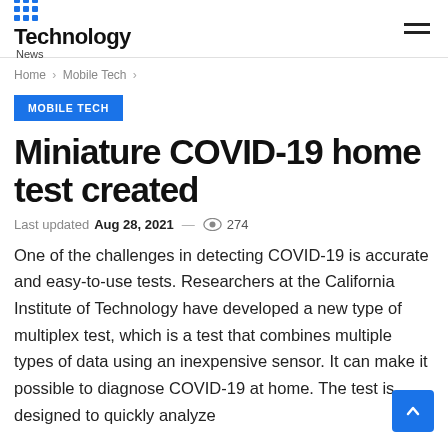Technology News
Home > Mobile Tech >
MOBILE TECH
Miniature COVID-19 home test created
Last updated Aug 28, 2021 — 274
One of the challenges in detecting COVID-19 is accurate and easy-to-use tests. Researchers at the California Institute of Technology have developed a new type of multiplex test, which is a test that combines multiple types of data using an inexpensive sensor. It can make it possible to diagnose COVID-19 at home. The test is designed to quickly analyze